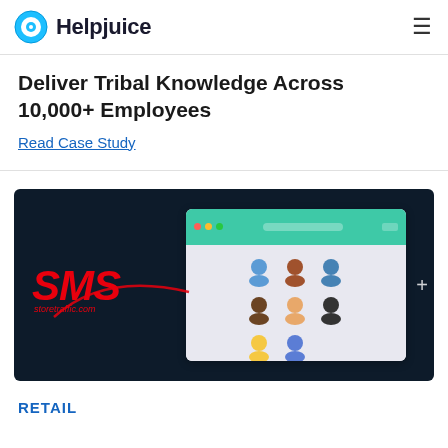Helpjuice
Deliver Tribal Knowledge Across 10,000+ Employees
Read Case Study
[Figure (screenshot): Screenshot of a web application interface showing a teal-colored header with browser window controls, a search bar, and a grid of user avatar icons on a light gray background. Overlaid with an SMS storetraffic.com watermark logo in red italic text with a swoosh graphic.]
RETAIL